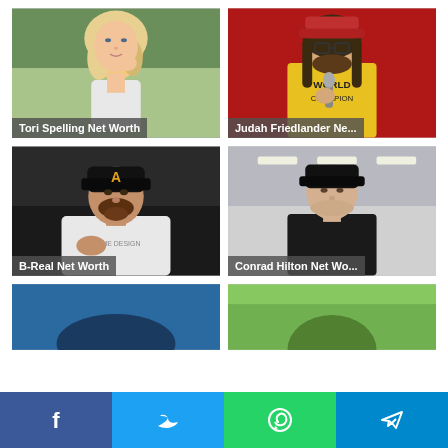[Figure (photo): Tori Spelling photo with caption 'Tori Spelling Net Worth']
[Figure (photo): Judah Friedlander photo with caption 'Judah Friedlander Ne...']
[Figure (photo): B-Real photo with caption 'B-Real Net Worth']
[Figure (photo): Conrad Hilton photo with caption 'Conrad Hilton Net Wo...']
[Figure (photo): Partially visible fifth photo (top portion cut off at bottom)]
[Figure (photo): Partially visible sixth photo (top portion cut off at bottom)]